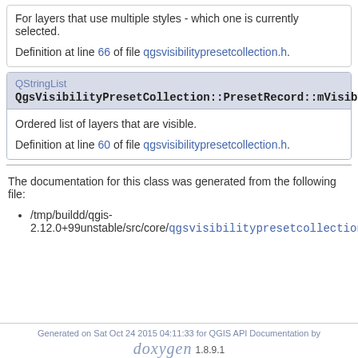For layers that use multiple styles - which one is currently selected.
Definition at line 66 of file qgsvisibilitypresetcollection.h.
QStringList
QgsVisibilityPresetCollection::PresetRecord::mVisibleLayerIDs
Ordered list of layers that are visible.
Definition at line 60 of file qgsvisibilitypresetcollection.h.
The documentation for this class was generated from the following file:
/tmp/buildd/qgis-2.12.0+99unstable/src/core/qgsvisibilitypresetcollection.h
Generated on Sat Oct 24 2015 04:11:33 for QGIS API Documentation by doxygen 1.8.9.1